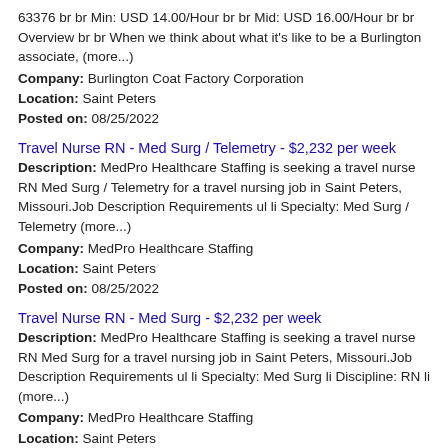63376 br br Min: USD 14.00/Hour br br Mid: USD 16.00/Hour br br Overview br br When we think about what it's like to be a Burlington associate, (more...)
Company: Burlington Coat Factory Corporation
Location: Saint Peters
Posted on: 08/25/2022
Travel Nurse RN - Med Surg / Telemetry - $2,232 per week
Description: MedPro Healthcare Staffing is seeking a travel nurse RN Med Surg / Telemetry for a travel nursing job in Saint Peters, Missouri.Job Description Requirements ul li Specialty: Med Surg / Telemetry (more...)
Company: MedPro Healthcare Staffing
Location: Saint Peters
Posted on: 08/25/2022
Travel Nurse RN - Med Surg - $2,232 per week
Description: MedPro Healthcare Staffing is seeking a travel nurse RN Med Surg for a travel nursing job in Saint Peters, Missouri.Job Description Requirements ul li Specialty: Med Surg li Discipline: RN li (more...)
Company: MedPro Healthcare Staffing
Location: Saint Peters
Posted on: 08/25/2022